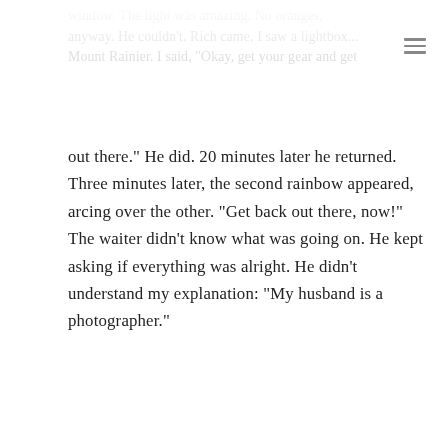window. The light was amazing. No oranges, anyway. He couldn't. Rich came. I saw a lightbox... Mount Rainier. I said, 'Okay, get your gear and get out there.' He did. 20 minutes later he returned. Three minutes later, the second rainbow appeared, arcing over the other. "Get back out there, now!" The waiter didn't know what was going on. He kept asking if everything was alright. He didn't understand my explanation: "My husband is a photographer."
By Robin Shapiro | January 15th, 2007 | Comments Off
Share This Story, Choose Your Platform!